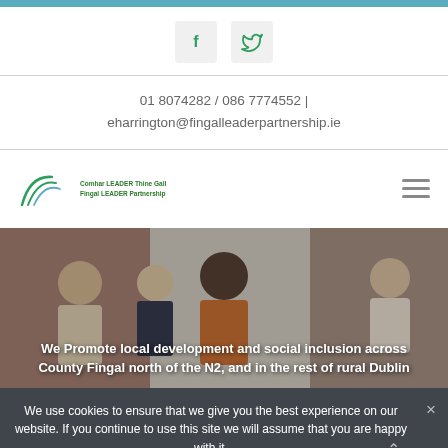[Figure (screenshot): Top blue decorative bar]
[Figure (infographic): Social media icons: Facebook (f) and Twitter (bird) in light grey rounded square buttons, colored green]
01 8074282 / 086 7774552 | eharrington@fingalleaderpartnership.ie
[Figure (logo): Fingal LEADER Partnership logo with swoosh arcs and green text]
[Figure (photo): Photo of people in an office/meeting room setting with brick wall background]
We Promote local development and social inclusion across County Fingal north of the N2, and in the rest of rural Dublin
We use cookies to ensure that we give you the best experience on our website. If you continue to use this site we will assume that you are happy with it.